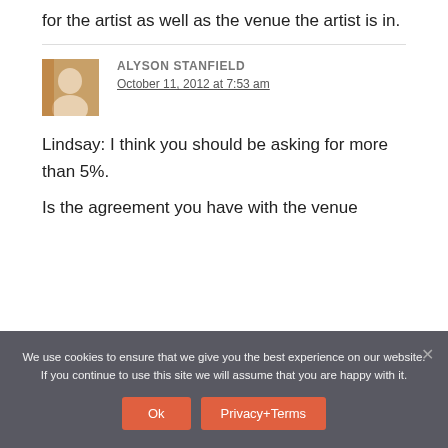for the artist as well as the venue the artist is in.
ALYSON STANFIELD
October 11, 2012 at 7:53 am
Lindsay: I think you should be asking for more than 5%.
Is the agreement you have with the venue
We use cookies to ensure that we give you the best experience on our website. If you continue to use this site we will assume that you are happy with it.
Ok  Privacy+Terms